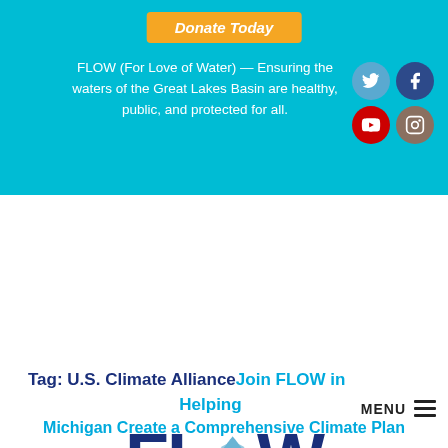Donate Today
FLOW (For Love of Water) — Ensuring the waters of the Great Lakes Basin are healthy, public, and protected for all.
[Figure (logo): Social media icons: Twitter (blue circle), Facebook (dark blue circle), YouTube (red circle), Instagram (brown/grey circle)]
MENU
[Figure (logo): FLOW (For Love of Water) logo — large dark blue text 'FLOW' with a water droplet replacing the O, subtitle 'FOR LOVE OF WATER']
Tag: U.S. Climate Alliance
Join FLOW in Helping Michigan Create a Comprehensive Climate Plan